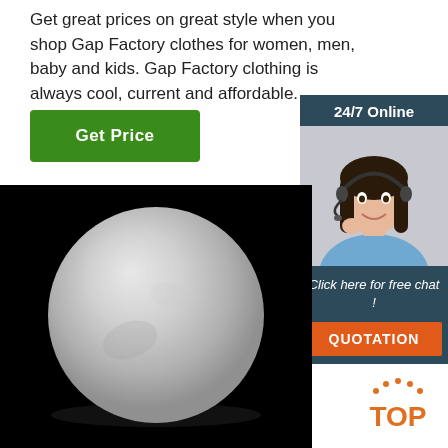Get great prices on great style when you shop Gap Factory clothes for women, men, baby and kids. Gap Factory clothing is always cool, current and affordable.
[Figure (other): Green 'Get Price' button]
[Figure (other): Sidebar widget with '24/7 Online' header, a smiling woman with headset, 'Click here for free chat!' text, and an orange 'QUOTATION' button]
[Figure (photo): Photo of a white/grey circular powder or ball on a black background]
[Figure (logo): Orange 'TOP' badge logo in bottom right corner]